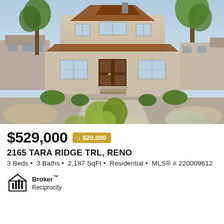[Figure (photo): Exterior photo of a two-story residential home with tan/beige siding, brown roof, front porch, landscaped front yard with drought-tolerant grasses and shrubs, driveway visible, trees in background]
$529,000  ↓ $20,000
2165 TARA RIDGE TRL, RENO
3 Beds • 3 Baths • 2,187 SqFt • Residential • MLS® # 220009612
[Figure (logo): Broker Reciprocity logo with house icon and text]